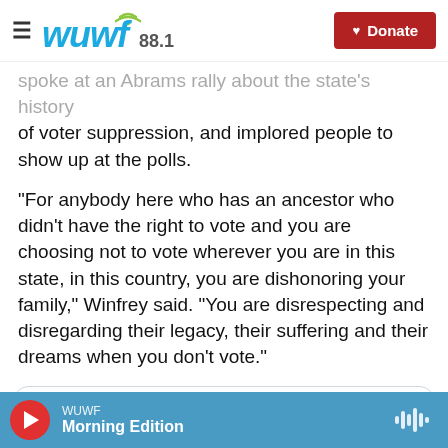WUWF 88.1 — Donate
spoke at an Abrams rally about the state's history of voter suppression, and implored people to show up at the polls.
"For anybody here who has an ancestor who didn't have the right to vote and you are choosing not to vote wherever you are in this state, in this country, you are dishonoring your family," Winfrey said. "You are disrespecting and disregarding their legacy, their suffering and their dreams when you don't vote."
[Figure (screenshot): Tweet card showing Brian Tyler Cohen with verified badge and Twitter bird icon]
WUWF — Morning Edition (audio player)